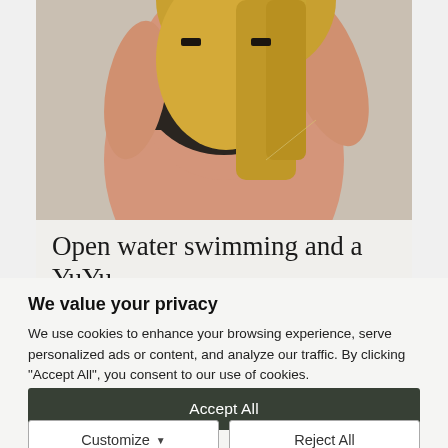[Figure (photo): Woman with blonde hair wearing a black top, photographed from behind/side, reaching back with her arm. Background is a neutral beige/grey.]
Open water swimming and a YuYu
We value your privacy
We use cookies to enhance your browsing experience, serve personalized ads or content, and analyze our traffic. By clicking "Accept All", you consent to our use of cookies.
Accept All
Customize
Reject All